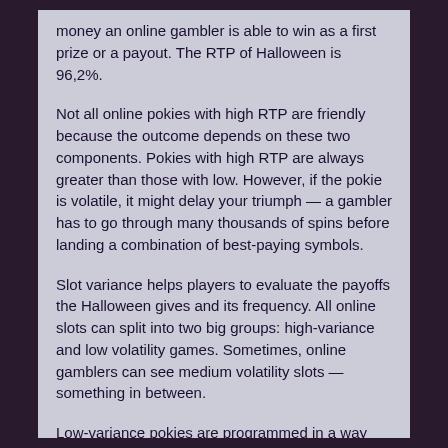money an online gambler is able to win as a first prize or a payout. The RTP of Halloween is 96,2%.
Not all online pokies with high RTP are friendly because the outcome depends on these two components. Pokies with high RTP are always greater than those with low. However, if the pokie is volatile, it might delay your triumph — a gambler has to go through many thousands of spins before landing a combination of best-paying symbols.
Slot variance helps players to evaluate the payoffs the Halloween gives and its frequency. All online slots can split into two big groups: high-variance and low volatility games. Sometimes, online gamblers can see medium volatility slots — something in between.
Low-variance pokies are programmed in a way where you will have regular but small payoffs, while high-